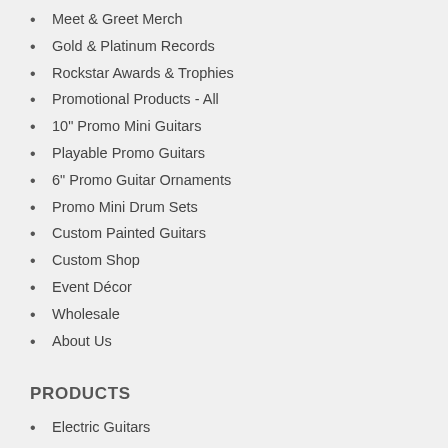Meet & Greet Merch
Gold & Platinum Records
Rockstar Awards & Trophies
Promotional Products - All
10" Promo Mini Guitars
Playable Promo Guitars
6" Promo Guitar Ornaments
Promo Mini Drum Sets
Custom Painted Guitars
Custom Shop
Event Décor
Wholesale
About Us
PRODUCTS
Electric Guitars
Acoustic Guitars
Bass Guitars
Guitar Bundles